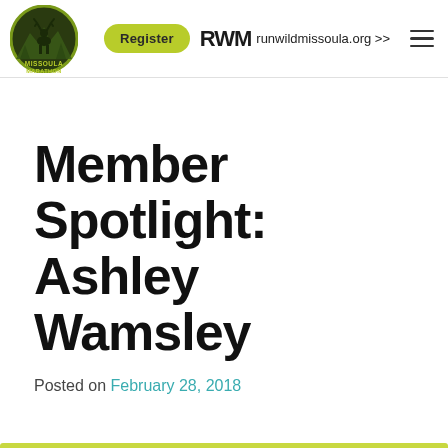[Figure (logo): Missoula Marathon circular logo with moose silhouette and trees, dark green background with yellow-green border]
Register   RWM runwildmissoula.org >>
Member Spotlight: Ashley Wamsley
Posted on February 28, 2018